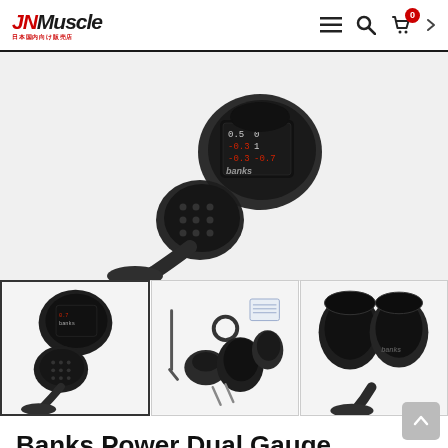JNMuscle — navigation bar with logo, menu, search, cart (0)
[Figure (photo): Close-up hero image of a Banks dual gauge pod suction mount showing two cylindrical gauge housings on a suction cup arm, with a digital gauge display visible on one unit showing data values, 'banks' logo visible, white/grey background]
[Figure (photo): Thumbnail 1 (selected): Banks dual gauge pod suction mount showing two gauge cylinders mounted on suction cup arm, angled view, black product on white background]
[Figure (photo): Thumbnail 2: Exploded/parts view of Banks dual gauge pod showing various components including hex wrench, suction cup base, cylindrical housings, screws, and mounting hardware laid out on white background]
[Figure (photo): Thumbnail 3: Banks dual gauge pod suction mount showing empty cylindrical gauge housings without gauges installed, angled view showing inside of housings, black product on white background]
Banks Power Dual Gauge Pod Suction Mount 52mm Gauges